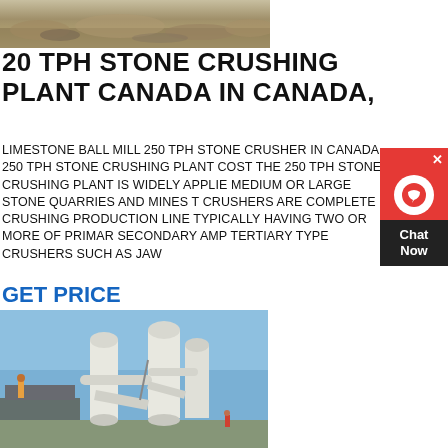[Figure (photo): Top banner photo of a stone quarry or mining site with soil and rocks]
20 TPH STONE CRUSHING PLANT CANADA IN CANADA,
LIMESTONE BALL MILL 250 TPH STONE CRUSHER IN CANADA 250 TPH STONE CRUSHING PLANT COST THE 250 TPH STONE CRUSHING PLANT IS WIDELY APPLIED MEDIUM OR LARGE STONE QUARRIES AND MINES T CRUSHERS ARE COMPLETE CRUSHING PRODUCTION LINE TYPICALLY HAVING TWO OR MORE OF PRIMARY SECONDARY AMP TERTIARY TYPE CRUSHERS SUCH AS JAW
GET PRICE
[Figure (photo): Industrial stone crushing plant equipment with large white cylindrical towers, pipes, and machinery against a blue sky]